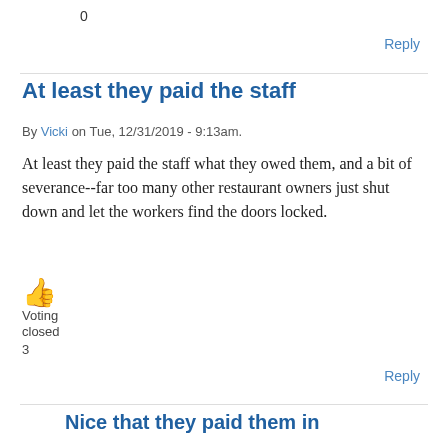0
Reply
At least they paid the staff
By Vicki on Tue, 12/31/2019 - 9:13am.
At least they paid the staff what they owed them, and a bit of severance--far too many other restaurant owners just shut down and let the workers find the doors locked.
[Figure (illustration): Thumbs up emoji icon in orange/gold color]
Voting closed
3
Reply
Nice that they paid them in
By Scratchie on Wed, 01/01/2020 - 4:37pm.